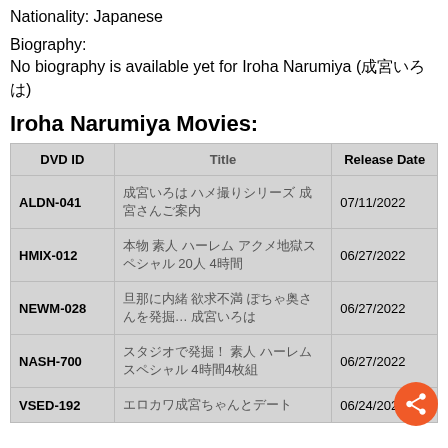Nationality: Japanese
Biography:
No biography is available yet for Iroha Narumiya (成宮いろは)
Iroha Narumiya Movies:
| DVD ID | Title | Release Date |
| --- | --- | --- |
| ALDN-041 | 成宮いろは ハメ撮りシリーズ 成宮さんご案内 | 07/11/2022 |
| HMIX-012 | 本物 素人 ハーレム アクメ地獄スペシャル 20人 4時間 | 06/27/2022 |
| NEWM-028 | 旦那に内緒 欲求不満 ぽちゃ奥さんを発掘…  成宮いろは | 06/27/2022 |
| NASH-700 | スタジオで発掘！ 素人 ハーレム スペシャル 4時間4枚組 | 06/27/2022 |
| VSED-192 | エロカワ成宮ちゃんとデート | 06/24/2022 |